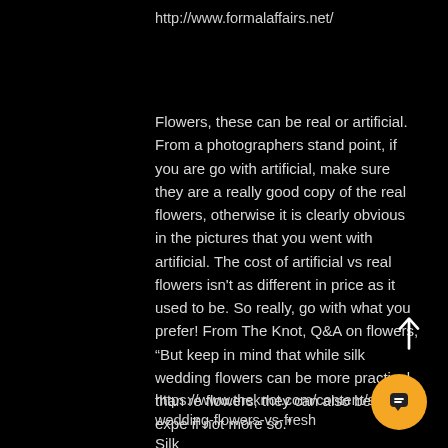http://www.formalaffairs.net/
Flowers, these can be real or artificial. From a photographers stand point, if you are go with artificial, make sure they are a really good copy of the real flowers, otherwise it is clearly obvious in the pictures that you went with artificial. The cost of artificial vs real flowers isn't as different in price as it used to be. So really, go with what you prefer! From The Knot, Q&A on flowers, “But keep in mind that while silk wedding flowers can be more practical than real flowers, they can also be just as expensive, if not more so.”
https://www.theknot.com/content/silk-wedding-flowers-vs-fresh
Silk